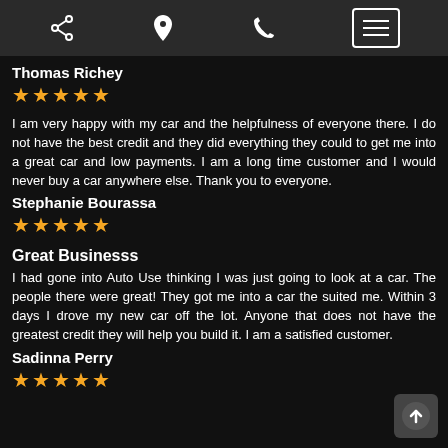Navigation bar with share, location, phone, and menu icons
Thomas Richey
★★★★★
I am very happy with my car and the helpfulness of everyone there. I do not have the best credit and they did everything they could to get me into a great car and low payments. I am a long time customer and I would never buy a car anywhere else. Thank you to everyone.
Stephanie Bourassa
★★★★★
Great Businesss
I had gone into Auto Use thinking I was just going to look at a car. The people there were great! They got me into a car the suited me. Within 3 days I drove my new car off the lot. Anyone that does not have the greatest credit they will help you build it. I am a satisfied customer.
Sadinna Perry
★★★★★